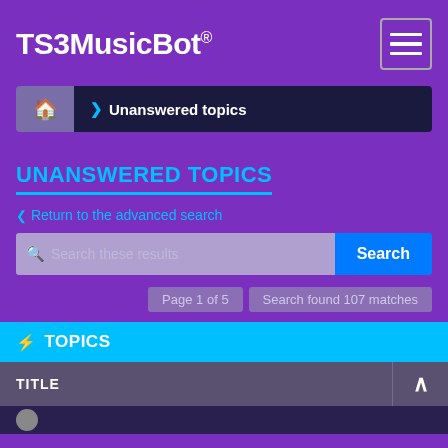TS3MusicBot®
Unanswered topics
UNANSWERED TOPICS
< Return to the advanced search
Search
Page 1 of 5
Search found 107 matches
⚡ TOPICS
| TITLE |
| --- |